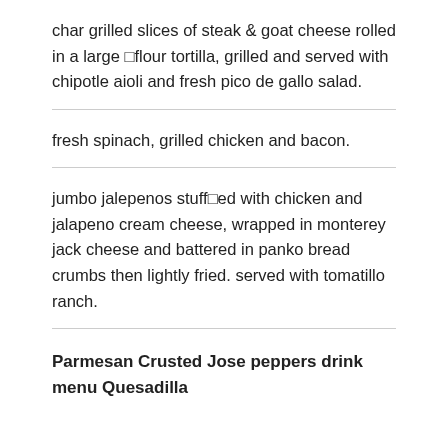char grilled slices of steak & goat cheese rolled in a large □flour tortilla, grilled and served with chipotle aioli and fresh pico de gallo salad.
fresh spinach, grilled chicken and bacon.
jumbo jalepenos stuff□ed with chicken and jalapeno cream cheese, wrapped in monterey jack cheese and battered in panko bread crumbs then lightly fried. served with tomatillo ranch.
Parmesan Crusted Jose peppers drink menu Quesadilla